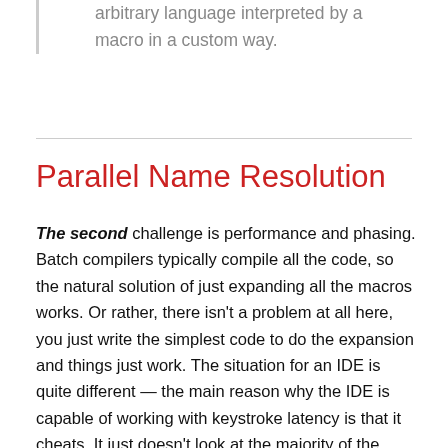arbitrary language interpreted by a macro in a custom way.
Parallel Name Resolution
The second challenge is performance and phasing. Batch compilers typically compile all the code, so the natural solution of just expanding all the macros works. Or rather, there isn't a problem at all here, you just write the simplest code to do the expansion and things just work. The situation for an IDE is quite different — the main reason why the IDE is capable of working with keystroke latency is that it cheats. It just doesn't look at the majority of the code during code editing, and analyses the absolute minimum to